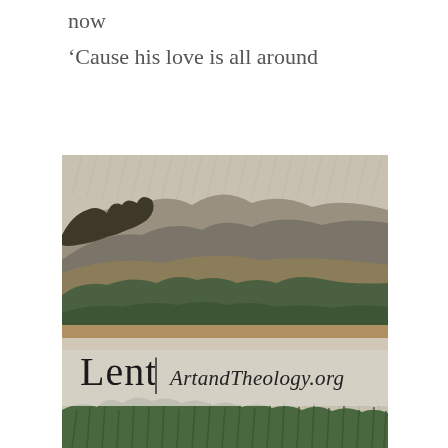now
‘Cause his love is all around
[Figure (illustration): A painting in the style of Van Gogh depicting a rainy landscape with fields, hills, and vegetation rendered in expressive brushstrokes with blues, greens, and earth tones. An overlay band in the lower-middle portion of the image reads 'Lent | ArtandTheology.org' in dark serif text against a semi-transparent light grey-beige background.]